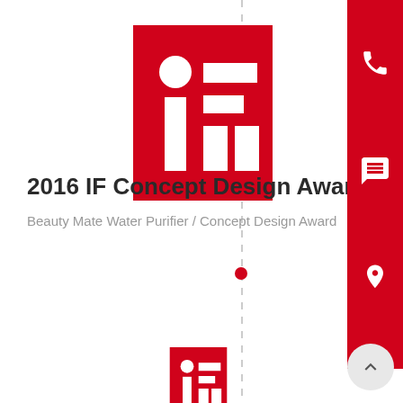[Figure (logo): iF Design Award logo — red square with white 'iF' text and grid icon, top position]
2016 IF Concept Design Award
Beauty Mate Water Purifier / Concept Design Award
[Figure (logo): iF Design Award logo — red square with white 'iF' text and grid icon, bottom position]
[Figure (infographic): Right sidebar with red background containing phone icon, chat/speech bubble icon, and location pin icon. Also includes a circular back-to-top button at bottom right.]